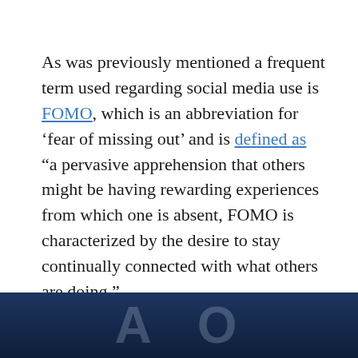As was previously mentioned a frequent term used regarding social media use is FOMO, which is an abbreviation for 'fear of missing out' and is defined as "a pervasive apprehension that others might be having rewarding experiences from which one is absent, FOMO is characterized by the desire to stay continually connected with what others are doing."
[Figure (photo): Dark blue-toned photo strip at the bottom of the page, partially visible, appears to show large letters or a logo against a dark background]